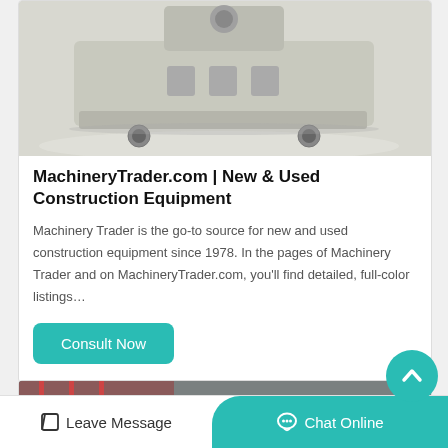[Figure (photo): Photo of construction/industrial equipment (machinery underside/base plate) on a light grey floor]
MachineryTrader.com | New & Used Construction Equipment
Machinery Trader is the go-to source for new and used construction equipment since 1978. In the pages of Machinery Trader and on MachineryTrader.com, you’ll find detailed, full-color listings…
Consult Now
[Figure (photo): Partial photo of industrial interior with scaffolding, pipes and machinery]
Leave Message
Chat Online